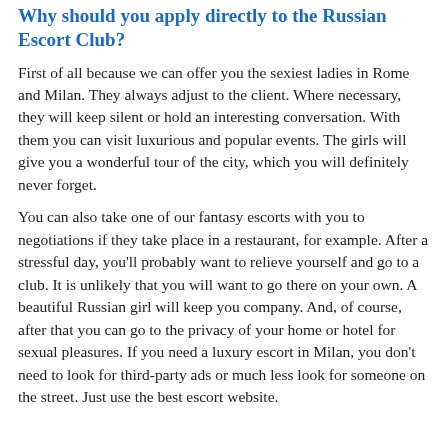Why should you apply directly to the Russian Escort Club?
First of all because we can offer you the sexiest ladies in Rome and Milan. They always adjust to the client. Where necessary, they will keep silent or hold an interesting conversation. With them you can visit luxurious and popular events. The girls will give you a wonderful tour of the city, which you will definitely never forget.
You can also take one of our fantasy escorts with you to negotiations if they take place in a restaurant, for example. After a stressful day, you'll probably want to relieve yourself and go to a club. It is unlikely that you will want to go there on your own. A beautiful Russian girl will keep you company. And, of course, after that you can go to the privacy of your home or hotel for sexual pleasures. If you need a luxury escort in Milan, you don't need to look for third-party ads or much less look for someone on the street. Just use the best escort website.